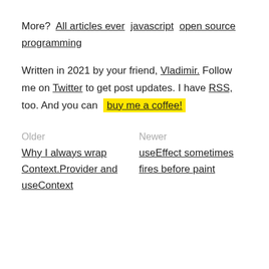More?  All articles ever  javascript  open source  programming
Written in 2021 by your friend, Vladimir. Follow me on Twitter to get post updates. I have RSS, too. And you can buy me a coffee!
Older
Why I always wrap Context.Provider and useContext
Newer
useEffect sometimes fires before paint